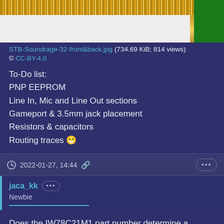[Figure (photo): PCB circuit board showing gold edge connector pins at top (ISA/PCI style connector) and a green PCB section on the right side. Partial view of a sound card PCB.]
STB-Soundrage-32-front&back.jpg (734.69 KiB; 814 views)
© CC-BY-4.0
To-Do list:
PNP EEPROM
Line In, Mic and Line Out sections
Gameport & 3.5mm jack placement
Resistors & capacitors
Routing traces 😁
🕐 2022-01-27, 14:44 🔗
jaca_kk
Newbie
Does the IW78C21M1 part number determine a masked ROM for GUS? There are still several places I can buy this